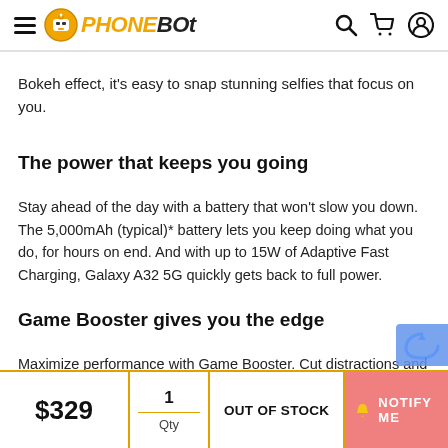PHONEBOT
Bokeh effect, it's easy to snap stunning selfies that focus on you.
The power that keeps you going
Stay ahead of the day with a battery that won't slow you down. The 5,000mAh (typical)* battery lets you keep doing what you do, for hours on end. And with up to 15W of Adaptive Fast Charging, Galaxy A32 5G quickly gets back to full power.
Game Booster gives you the edge
Maximize performance with Game Booster. Cut distractions and up your game with a dedicated interface and easy-to-reach menu. Frame Booster
$329  1  Qty  OUT OF STOCK  NOTIFY ME